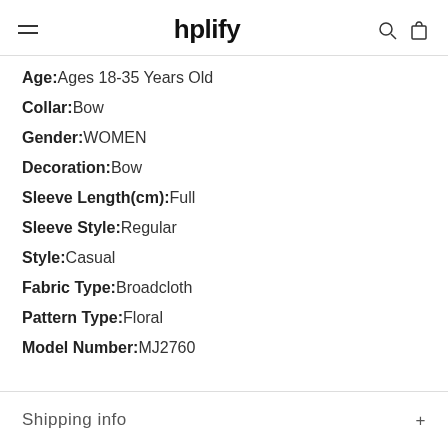hplify
Age: Ages 18-35 Years Old
Collar: Bow
Gender: WOMEN
Decoration: Bow
Sleeve Length(cm): Full
Sleeve Style: Regular
Style: Casual
Fabric Type: Broadcloth
Pattern Type: Floral
Model Number: MJ2760
Shipping info